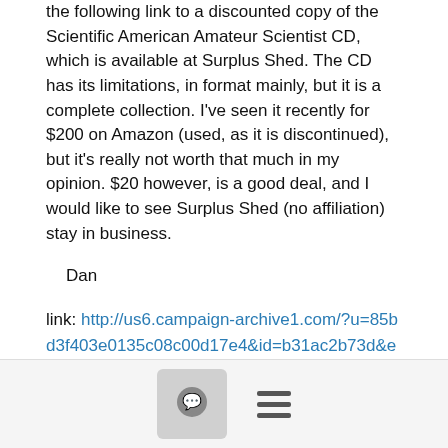On the other hand, I thought folks here might be interested in the following link to a discounted copy of the Scientific American Amateur Scientist CD, which is available at Surplus Shed.  The CD has its limitations, in format mainly, but it is a complete collection.  I've seen it recently for $200 on Amazon (used, as it is discontinued), but it's really not worth that much in my opinion.  $20 however, is a good deal, and I would like to see Surplus Shed (no affiliation) stay in business.
Dan
link: http://us6.campaign-archive1.com/?u=85bd3f403e0135c08c00d17e4&id=b31ac2b73d&e=827e3683e6
(I don't know why it doesn't point directly to Surplus Shed, but it does appear to be an on-line link to the current deals there).
Show quoted text
[Figure (other): Footer bar with comment bubble icon and hamburger menu icon]